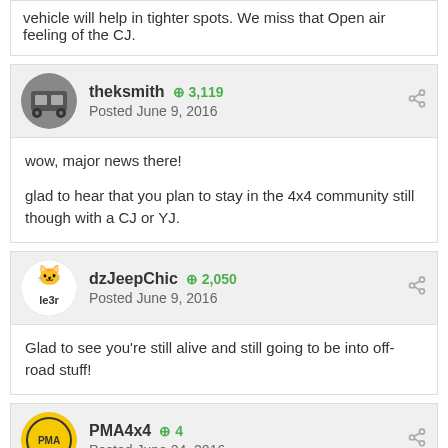vehicle will help in tighter spots. We miss that Open air feeling of the CJ.
theksmith +3,119 Posted June 9, 2016
wow, major news there!

glad to hear that you plan to stay in the 4x4 community still though with a CJ or YJ.
dzJeepChic +2,050 Posted June 9, 2016
Glad to see you're still alive and still going to be into off-road stuff!
PMA4x4 +4 Posted June 24, 2016